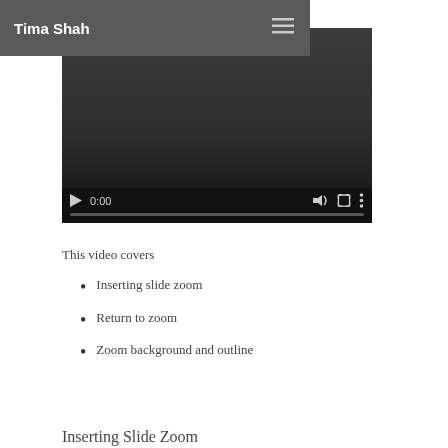Tima Shah
[Figure (screenshot): Embedded video player with dark background, showing playback controls including play button, time display 0:00, volume, fullscreen, and options buttons, with a progress bar at the bottom.]
This video covers
Inserting slide zoom
Return to zoom
Zoom background and outline
Inserting Slide Zoom